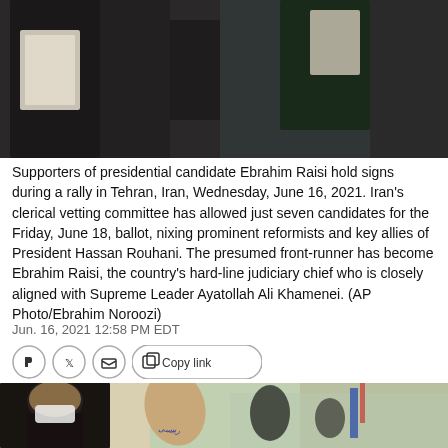[Figure (photo): Supporters of presidential candidate Ebrahim Raisi holding signs at a rally, people in dark clothing visible]
Supporters of presidential candidate Ebrahim Raisi hold signs during a rally in Tehran, Iran, Wednesday, June 16, 2021. Iran's clerical vetting committee has allowed just seven candidates for the Friday, June 18, ballot, nixing prominent reformists and key allies of President Hassan Rouhani. The presumed front-runner has become Ebrahim Raisi, the country's hard-line judiciary chief who is closely aligned with Supreme Leader Ayatollah Ali Khamenei. (AP Photo/Ebrahim Noroozi)
Jun. 16, 2021 12:58 PM EDT
[Figure (photo): A woman in hijab and mask raises her hand with writing on the palm at a rally, crowd in background]